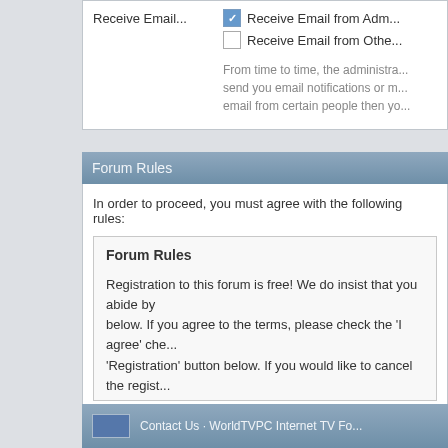Receive Email...
Receive Email from Adm...
Receive Email from Othe...
From time to time, the administra... send you email notifications or m... email from certain people then yo...
Forum Rules
In order to proceed, you must agree with the following rules:
Forum Rules
Registration to this forum is free! We do insist that you abide by... below. If you agree to the terms, please check the 'I agree' che... 'Registration' button below. If you would like to cancel the regist... forums index.
I have read, and agree to abide by the Online TV Forums r...
Contact Us · WorldTVPC Internet TV Fo...